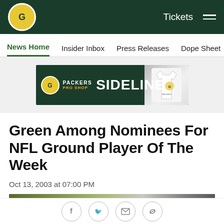Green Bay Packers - Tickets [navigation bar]
News Home | Insider Inbox | Press Releases | Dope Sheet | Game
[Figure (illustration): Packers Pro Shop SIDELINE advertisement banner with logo and white t-shirt]
Green Among Nominees For NFL Ground Player Of The Week
Oct 13, 2003 at 07:00 PM
[Figure (photo): Football player photo, partially visible]
Social share buttons: Facebook, Twitter, Email, Link